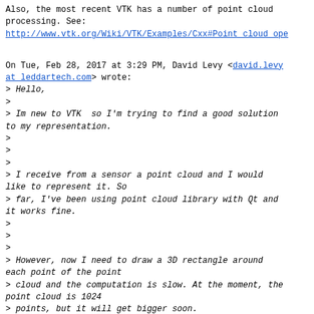Also, the most recent VTK has a number of point cloud processing. See:
http://www.vtk.org/Wiki/VTK/Examples/Cxx#Point_cloud_ope
On Tue, Feb 28, 2017 at 3:29 PM, David Levy <david.levy at leddartech.com> wrote:
> Hello,
>
> Im new to VTK  so I'm trying to find a good solution to my representation.
>
>
>
> I receive from a sensor a point cloud and I would like to represent it. So
> far, I've been using point cloud library with Qt and it works fine.
>
>
>
> However, now I need to draw a 3D rectangle around each point of the point
> cloud and the computation is slow. At the moment, the point cloud is 1024
> points, but it will get bigger soon.
>
>
>
>
>